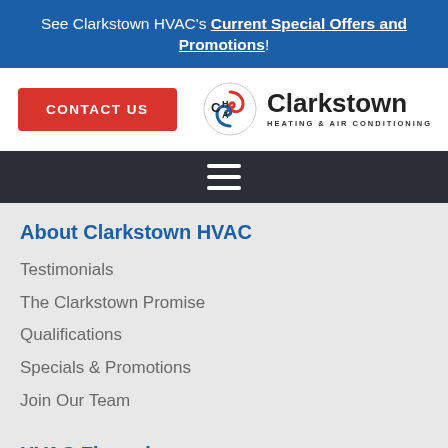See Clarkstown HVAC's Current Special Offers and Promotions!
[Figure (logo): Contact Us button (red) and Clarkstown Heating & Air Conditioning logo with CHA icon]
[Figure (other): Dark navigation bar with hamburger menu icon (three horizontal lines)]
About Clarkstown HVAC
Testimonials
The Clarkstown Promise
Qualifications
Specials & Promotions
Join Our Team
HVAC Financing
Save Money & Energy
Carrier HVAC Financing